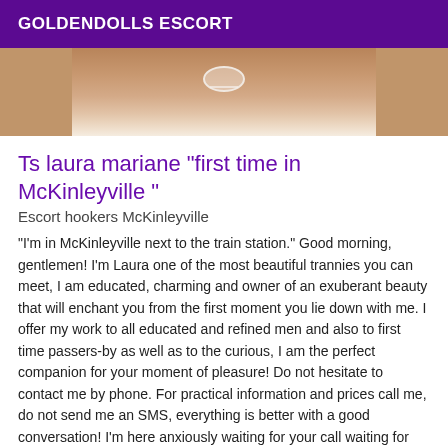GOLDENDOLLS ESCORT
[Figure (photo): Partial photo of a person wearing white lingerie, cropped showing torso area]
Ts laura mariane "first time in McKinleyville "
Escort hookers McKinleyville
"I'm in McKinleyville next to the train station." Good morning, gentlemen! I'm Laura one of the most beautiful trannies you can meet, I am educated, charming and owner of an exuberant beauty that will enchant you from the first moment you lie down with me. I offer my work to all educated and refined men and also to first time passers-by as well as to the curious, I am the perfect companion for your moment of pleasure! Do not hesitate to contact me by phone. For practical information and prices call me, do not send me an SMS, everything is better with a good conversation! I'm here anxiously waiting for your call waiting for your many hot Laura